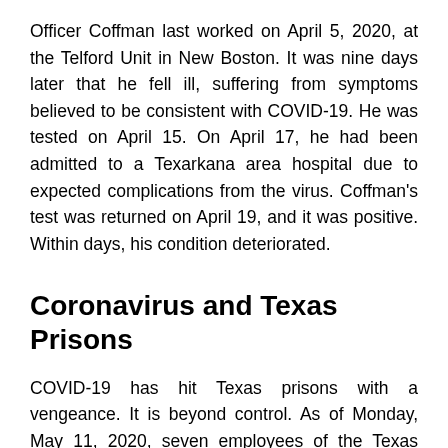Officer Coffman last worked on April 5, 2020, at the Telford Unit in New Boston. It was nine days later that he fell ill, suffering from symptoms believed to be consistent with COVID-19. He was tested on April 15. On April 17, he had been admitted to a Texarkana area hospital due to expected complications from the virus. Coffman's test was returned on April 19, and it was positive. Within days, his condition deteriorated.
Coronavirus and Texas Prisons
COVID-19 has hit Texas prisons with a vengeance. It is beyond control. As of Monday, May 11, 2020, seven employees of the Texas Department of Criminal Justice have died, including Officer Coffman. There